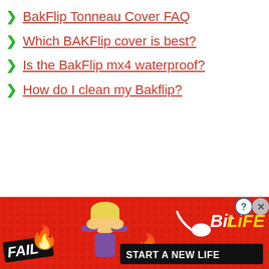BakFlip Tonneau Cover FAQ
Which BAKFlip cover is best?
Is the BakFlip mx4 waterproof?
How do I clean my Bakflip?
[Figure (illustration): BitLife advertisement banner showing a cartoon blonde character facepalming, fire graphics, a sperm icon, the BitLife logo in yellow, 'FAIL' text in black label, and 'START A NEW LIFE' tagline on black background. Orange-red textured background. Close (X) and help (?) buttons in top right.]